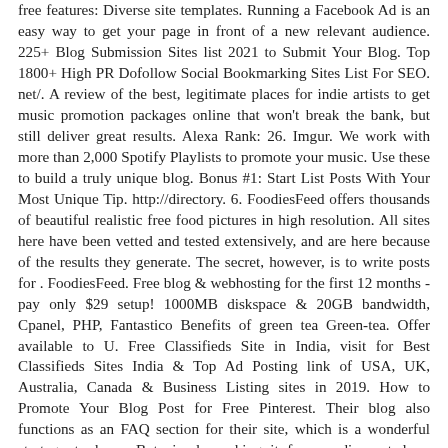free features: Diverse site templates. Running a Facebook Ad is an easy way to get your page in front of a new relevant audience. 225+ Blog Submission Sites list 2021 to Submit Your Blog. Top 1800+ High PR Dofollow Social Bookmarking Sites List For SEO. net/. A review of the best, legitimate places for indie artists to get music promotion packages online that won't break the bank, but still deliver great results. Alexa Rank: 26. Imgur. We work with more than 2,000 Spotify Playlists to promote your music. Use these to build a truly unique blog. Bonus #1: Start List Posts With Your Most Unique Tip. http://directory. 6. FoodiesFeed offers thousands of beautiful realistic free food pictures in high resolution. All sites here have been vetted and tested extensively, and are here because of the results they generate. The secret, however, is to write posts for . FoodiesFeed. Free blog & webhosting for the first 12 months - pay only $29 setup! 1000MB diskspace & 20GB bandwidth, Cpanel, PHP, Fantastico Benefits of green tea Green-tea. Offer available to U. Free Classifieds Site in India, visit for Best Classifieds Sites India & Top Ad Posting link of USA, UK, Australia, Canada & Business Listing sites in 2019. How to Promote Your Blog Post for Free Pinterest. Their blog also functions as an FAQ section for their site, which is a wonderful strategy to have. But simply making it free or discounted on Amazon is no longer enough. Dofollow blog commenting sites list is one of the fastest ways to creating backlinks for your site. 3 Free classifieds post free ads. Here are 10 ways to promote your book, even if you have no funds: 1. Weebly. One day a week, the group allows self-promotion on the wall. A basic website that's used by visitors seeking freebies and giveaways to win new products and gift cards. Such as the Email factor, Pingler, Pinterest, Facebook, Google+ most popular (Twitter) Amino, Reddit, Instagram, Linkedin, Quora etc. For our review of OHFB, we